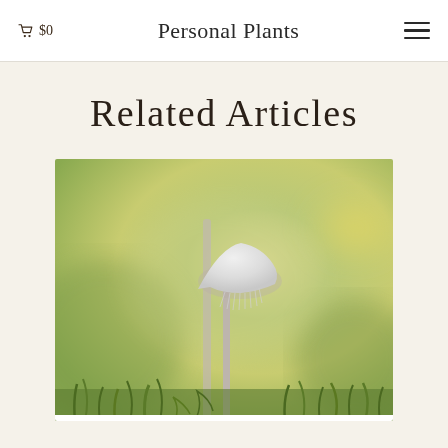🛒 $0   Personal Plants   ☰
Related Articles
[Figure (photo): Close-up photograph of a delicate small white mushroom with a bell-shaped cap on a thin tall stalk, with green moss at the base and a soft blurred green and yellow bokeh background]